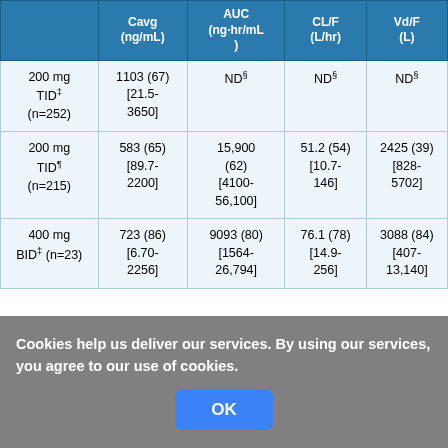|  | Cavg (ng/mL) | AUC (ng·hr/mL) | CL/F (L/hr) | Vd/F (L) |
| --- | --- | --- | --- | --- |
| 200 mg TID‡ (n=252) | 1103 (67) [21.5-3650] | ND§ | ND§ | ND§ |
| 200 mg TID¶ (n=215) | 583 (65) [89.7-2200] | 15,900 (62) [4100-56,100] | 51.2 (54) [10.7-146] | 2425 (39) [828-5702] |
| 400 mg BID‡ (n=23) | 723 (86) [6.70-2256] | 9093 (80) [1564-26,794] | 76.1 (78) [14.9-256] | 3088 (84) [407-13,140] |
Cavg = the average posaconazole concentration when measured at steady state
Cookies help us deliver our services. By using our services, you agree to our use of cookies.
‡ Oral suspension administration
¶ AUC ... for 200 mg TID and AUC ... for 400 mg BID